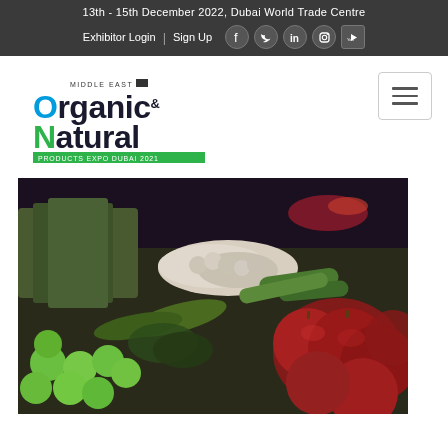13th - 15th December 2022, Dubai World Trade Centre
Exhibitor Login | Sign Up
[Figure (logo): Middle East Organic & Natural Products Expo Dubai 2021 logo]
[Figure (photo): Close-up photo of an organic produce market display with herbs, garlic, cucumbers, limes, and red apples/onions]